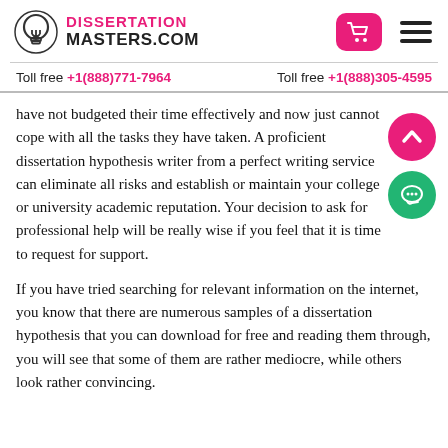[Figure (logo): Dissertation Masters.com logo with lightbulb icon]
Toll free +1(888)771-7964    Toll free +1(888)305-4595
have not budgeted their time effectively and now just cannot cope with all the tasks they have taken. A proficient dissertation hypothesis writer from a perfect writing service can eliminate all risks and establish or maintain your college or university academic reputation. Your decision to ask for professional help will be really wise if you feel that it is time to request for support.
If you have tried searching for relevant information on the internet, you know that there are numerous samples of a dissertation hypothesis that you can download for free and reading them through, you will see that some of them are rather mediocre, while others look rather convincing.